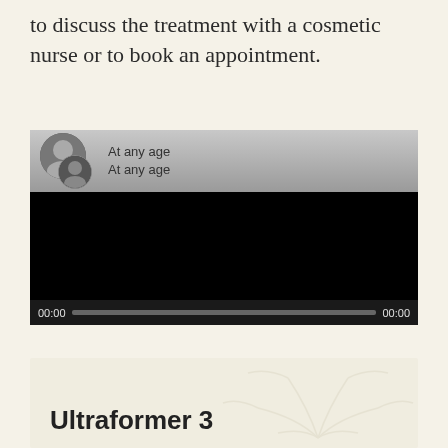to discuss the treatment with a cosmetic nurse or to book an appointment.
[Figure (screenshot): Video player screenshot showing a paused video titled 'At any age'. The top bar shows two circular avatar thumbnails and the text 'At any age' displayed twice. The main video area is black. The controls bar shows '00:00' on the left, a grey progress bar in the center, and '00:00' on the right.]
[Figure (screenshot): Partial image of a card or section with a watermark/background illustration and the bold text 'Ultraformer 3' in the lower left.]